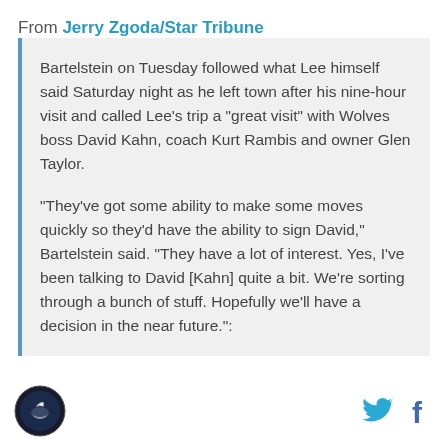From Jerry Zgoda/Star Tribune
Bartelstein on Tuesday followed what Lee himself said Saturday night as he left town after his nine-hour visit and called Lee's trip a "great visit" with Wolves boss David Kahn, coach Kurt Rambis and owner Glen Taylor.
"They've got some ability to make some moves quickly so they'd have the ability to sign David," Bartelstein said. "They have a lot of interest. Yes, I've been talking to David [Kahn] quite a bit. We're sorting through a bunch of stuff. Hopefully we'll have a decision in the near future.":